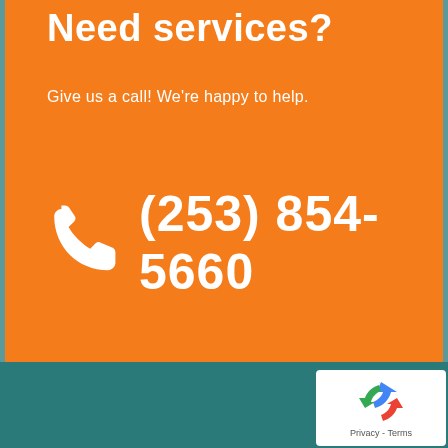Need services?
Give us a call! We're happy to help.
(253) 854-5660
[Figure (logo): reCAPTCHA badge with recycling arrow icon and Privacy - Terms text]